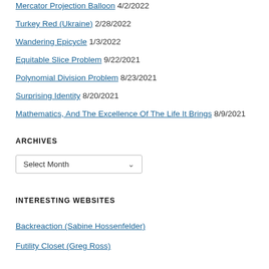Mercator Projection Balloon 4/2/2022
Turkey Red (Ukraine) 2/28/2022
Wandering Epicycle 1/3/2022
Equitable Slice Problem 9/22/2021
Polynomial Division Problem 8/23/2021
Surprising Identity 8/20/2021
Mathematics, And The Excellence Of The Life It Brings 8/9/2021
ARCHIVES
[Figure (other): Select Month dropdown widget]
INTERESTING WEBSITES
Backreaction (Sabine Hossenfelder)
Futility Closet (Greg Ross)